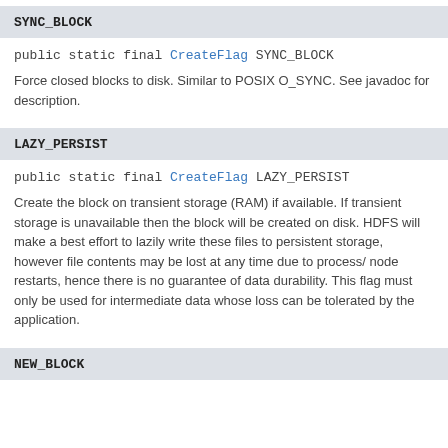SYNC_BLOCK
public static final CreateFlag SYNC_BLOCK
Force closed blocks to disk. Similar to POSIX O_SYNC. See javadoc for description.
LAZY_PERSIST
public static final CreateFlag LAZY_PERSIST
Create the block on transient storage (RAM) if available. If transient storage is unavailable then the block will be created on disk. HDFS will make a best effort to lazily write these files to persistent storage, however file contents may be lost at any time due to process/node restarts, hence there is no guarantee of data durability. This flag must only be used for intermediate data whose loss can be tolerated by the application.
NEW_BLOCK